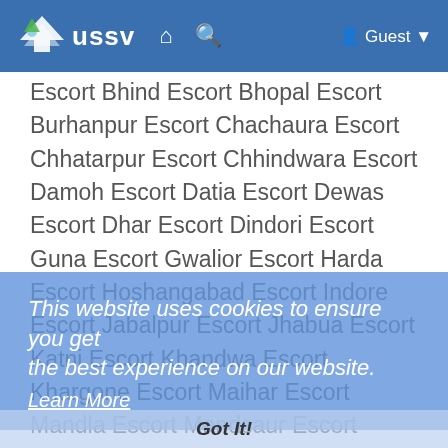USSV - Guest
Escort Bhind Escort Bhopal Escort Burhanpur Escort Chachaura Escort Chhatarpur Escort Chhindwara Escort Damoh Escort Datia Escort Dewas Escort Dhar Escort Dindori Escort Guna Escort Gwalior Escort Harda Escort Hoshangabad Escort Indore Escort Jabalpur Escort Jhabua Escort Katni Escort Khandwa Escort Khargone Escort Maihar Escort Mandla Escort Mandsaur Escort Morena Escort Narsinghpur Escort Nagda Escort Neemuch Escort Niwari Escort Panna Escort Raisen Escort Rajgarh Escort Ratlam Escort Rewa Escort Sagar Escort Satna Escort Sehore Escort Seoni Escort Shahdol Escort Shajapur Escort Sheopur Escort Shivpuri Escort Sidhi Escort Singrauli Escort Tikamgarh Escort Ujjain Escort Umaria Escort Vidisha Escort Ahmednagar Escort Akola Escort Amravati Escort Aurangabad Escort Beed Escort Bhandara Escort
This website uses cookies to ensure you get the best experience on our website. Learn More
Got It!